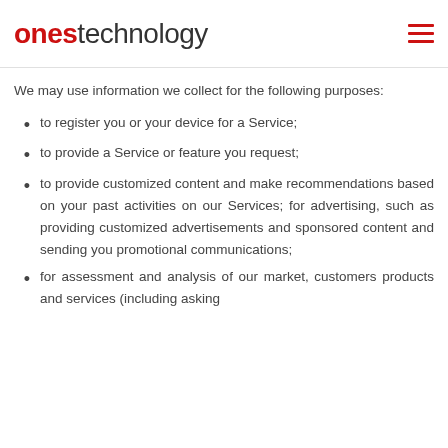ones technology
We may use information we collect for the following purposes:
to register you or your device for a Service;
to provide a Service or feature you request;
to provide customized content and make recommendations based on your past activities on our Services; for advertising, such as providing customized advertisements and sponsored content and sending you promotional communications;
for assessment and analysis of our market, customers products and services (including asking